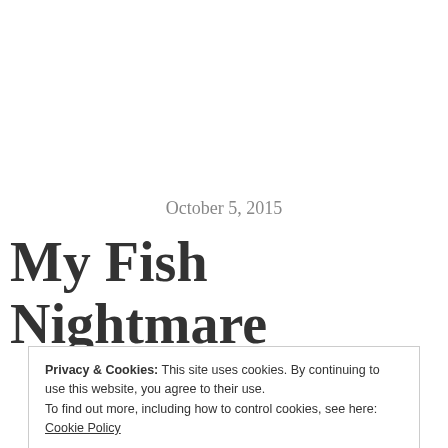October 5, 2015
My Fish Nightmare
Privacy & Cookies: This site uses cookies. By continuing to use this website, you agree to their use.
To find out more, including how to control cookies, see here: Cookie Policy
Close and accept